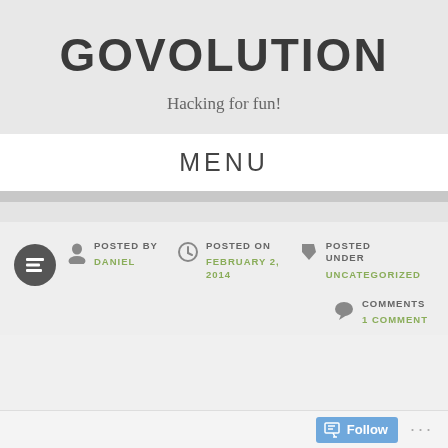GOVOLUTION
Hacking for fun!
MENU
POSTED BY
DANIEL
POSTED ON
FEBRUARY 2, 2014
POSTED UNDER
UNCATEGORIZED
COMMENTS
1 COMMENT
Follow ...